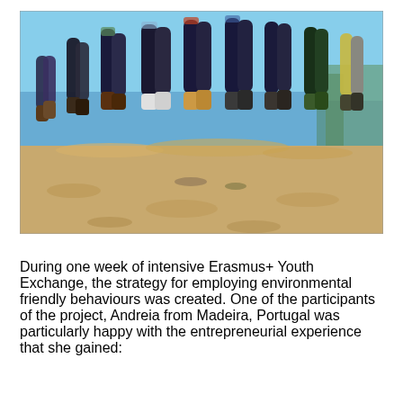[Figure (photo): Group of people jumping on a sandy beach with the sea and blue sky in the background. Only their legs and lower bodies are visible mid-jump.]
During one week of intensive Erasmus+ Youth Exchange, the strategy for employing environmental friendly behaviours was created. One of the participants of the project, Andreia from Madeira, Portugal was particularly happy with the entrepreneurial experience that she gained: